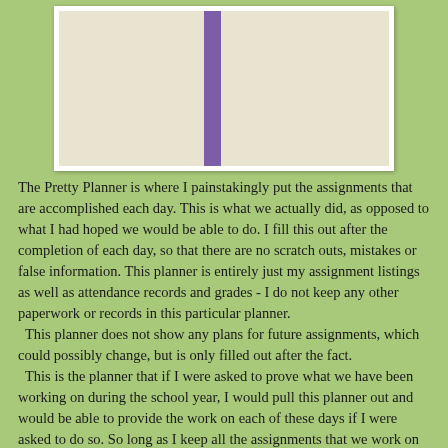[Figure (photo): Photo of an open spiral-bound weekly planner with handwritten entries showing assignment listings, attendance records, and grades. The planner has a green bar at the bottom reading 'weekly planner'. A purple spiral binding is visible in the center.]
The Pretty Planner is where I painstakingly put the assignments that are accomplished each day.  This is what we actually did, as opposed to what I had hoped we would be able to do.  I fill this out after the completion of each day, so that there are no scratch outs, mistakes or false information.   This planner is entirely just my assignment listings as well as attendance records and grades - I do not keep any other paperwork or records in this particular planner.   This planner does not show any plans for future assignments, which could possibly change, but is only filled out after the fact.  This is the planner that if I were asked to prove what we have been working on during the school year, I would pull this planner out and would be able to provide the work on each of these days if I were asked to do so.  So long as I keep all the assignments that we work on each week organized and put away, if I am ever asked to provide something that is marked in this planner, I would just go to that weeks stack of work and quickly locate the assignments for both children, I would never be off guard and not be able to